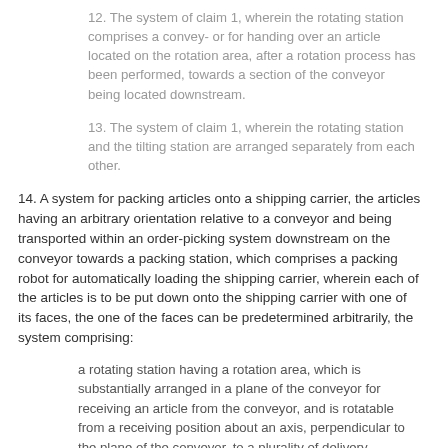12. The system of claim 1, wherein the rotating station comprises a convey- or for handing over an article located on the rotation area, after a rotation process has been performed, towards a section of the conveyor being located downstream.
13. The system of claim 1, wherein the rotating station and the tilting station are arranged separately from each other.
14. A system for packing articles onto a shipping carrier, the articles having an arbitrary orientation relative to a conveyor and being transported within an order-picking system downstream on the conveyor towards a packing station, which comprises a packing robot for automatically loading the shipping carrier, wherein each of the articles is to be put down onto the shipping carrier with one of its faces, the one of the faces can be predetermined arbitrarily, the system comprising:
a rotating station having a rotation area, which is substantially arranged in a plane of the conveyor for receiving an article from the conveyor, and is rotatable from a receiving position about an axis, perpendicular to the plane of the conveyor, to a plurality of delivery positions;